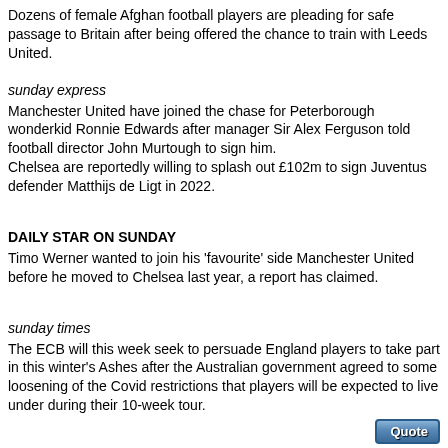Dozens of female Afghan football players are pleading for safe passage to Britain after being offered the chance to train with Leeds United.
sunday express
Manchester United have joined the chase for Peterborough wonderkid Ronnie Edwards after manager Sir Alex Ferguson told football director John Murtough to sign him.
Chelsea are reportedly willing to splash out £102m to sign Juventus defender Matthijs de Ligt in 2022.
DAILY STAR ON SUNDAY
Timo Werner wanted to join his 'favourite' side Manchester United before he moved to Chelsea last year, a report has claimed.
sunday times
The ECB will this week seek to persuade England players to take part in this winter's Ashes after the Australian government agreed to some loosening of the Covid restrictions that players will be expected to live under during their 10-week tour.
The Following 3 Users Say Thank You to sarahmic For This Useful Post:
empb (26-09-2021), Jacop (28-09-2021), manic01 (27-09-2021)